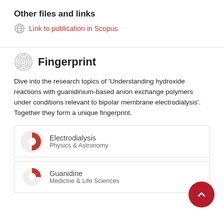Other files and links
Link to publication in Scopus
Fingerprint
Dive into the research topics of 'Understanding hydroxide reactions with guanidinium-based anion exchange polymers under conditions relevant to bipolar membrane electrodialysis'. Together they form a unique fingerprint.
Electrodialysis
Physics & Astronomy
Guanidine
Medicine & Life Sciences